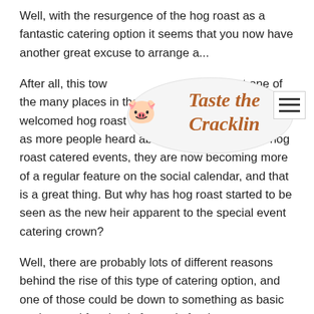Well, with the resurgence of the hog roast as a fantastic catering option it seems that you now have another great excuse to arrange a...
[Figure (logo): Taste the Cracklin logo: oval shape with pig illustration and brown italic text 'Taste the Cracklin']
After all, this town... people is just one of the many places in the United Kingdom to have welcomed hog roast with open arms. It seems that as more people heard about Taste the Cracklin hog roast catered events, they are now becoming more of a regular feature on the social calendar, and that is a great thing. But why has hog roast started to be seen as the new heir apparent to the special event catering crown?
Well, there are probably lots of different reasons behind the rise of this type of catering option, and one of those could be down to something as basic as the need for simply fantastic food.
I'm sure that you'll agree that for every one great special occasion that you have attended in the last four or five years, you have been to two that have been let down woefully by appalling catering.